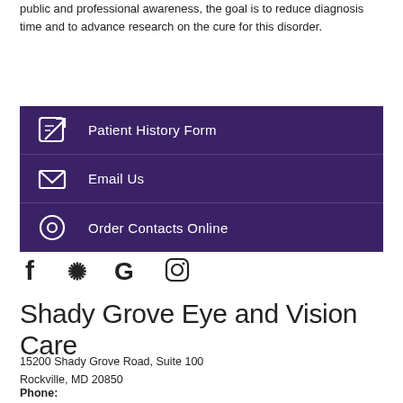public and professional awareness, the goal is to reduce diagnosis time and to advance research on the cure for this disorder.
Patient History Form
Email Us
Order Contacts Online
[Figure (infographic): Social media icons: Facebook, Yelp, Google, Instagram]
Shady Grove Eye and Vision Care
15200 Shady Grove Road, Suite 100
Rockville, MD 20850
Phone: